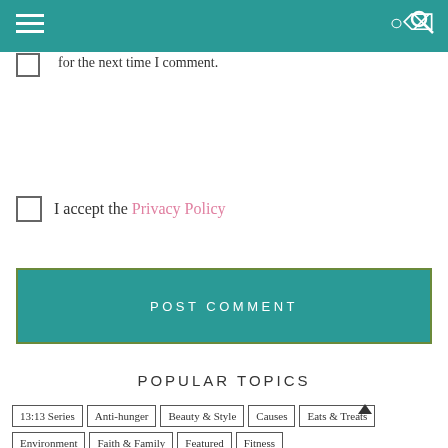Save my name, email, and website in this browser for the next time I comment.
I accept the Privacy Policy
POST COMMENT
POPULAR TOPICS
13:13 Series
Anti-hunger
Beauty & Style
Causes
Eats & Treats
Environment
Faith & Family
Featured
Fitness